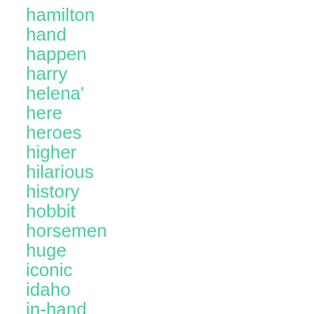hamilton
hand
happen
harry
helena'
here
heroes
higher
hilarious
history
hobbit
horsemen
huge
iconic
idaho
in-hand
indonesia